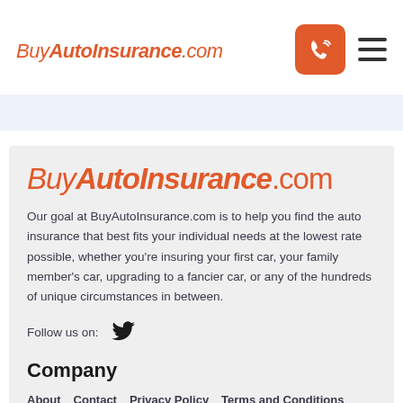BuyAutoInsurance.com
[Figure (logo): BuyAutoInsurance.com logo in orange italic text in the header]
[Figure (other): Orange phone icon button and hamburger menu icon in the header]
[Figure (logo): Large BuyAutoInsurance.com logo in the content card]
Our goal at BuyAutoInsurance.com is to help you find the auto insurance that best fits your individual needs at the lowest rate possible, whether you’re insuring your first car, your family member’s car, upgrading to a fancier car, or any of the hundreds of unique circumstances in between.
Follow us on:
Company
About   Contact   Privacy Policy   Terms and Conditions